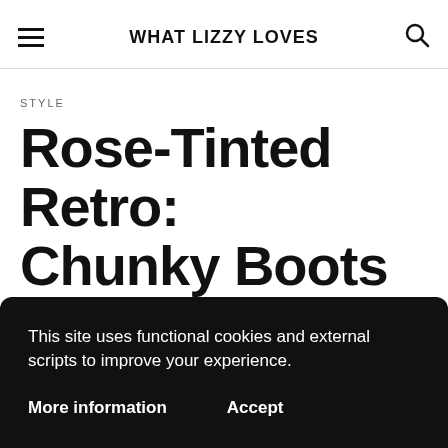WHAT LIZZY LOVES
STYLE
Rose-Tinted Retro: Chunky Boots and
This site uses functional cookies and external scripts to improve your experience.
More information
Accept